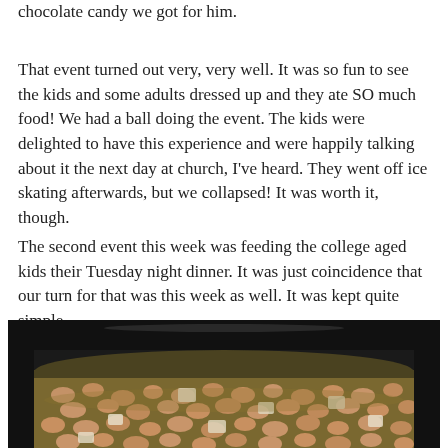chocolate candy we got for him.
That event turned out very, very well. It was so fun to see the kids and some adults dressed up and they ate SO much food! We had a ball doing the event. The kids were delighted to have this experience and were happily talking about it the next day at church, I've heard. They went off ice skating afterwards, but we collapsed! It was worth it, though.
The second event this week was feeding the college aged kids their Tuesday night dinner. It was just coincidence that our turn for that was this week as well. It was kept quite simple.
[Figure (photo): A close-up photo of a slow cooker / crock pot filled with pinto beans and diced onions in broth, viewed from above at an angle. The black oval slow cooker insert is visible around the edges.]